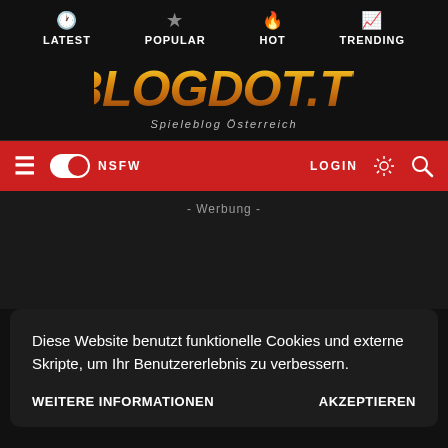LATEST  POPULAR  HOT  TRENDING
[Figure (logo): BLOGDOT.TV logo with golden gradient italic bold text, subtitle Spieleblog Österreich]
≡  NSFW  LOGIN  🔍
- Werbung -
Diese Website benutzt funktionelle Cookies und externe Skripte, um Ihr Benutzererlebnis zu verbessern.
WEITERE INFORMATIONEN    AKZEPTIEREN